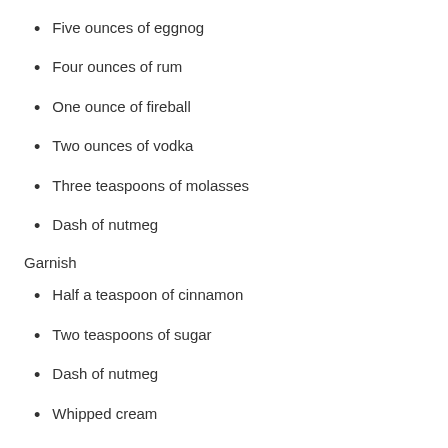Five ounces of eggnog
Four ounces of rum
One ounce of fireball
Two ounces of vodka
Three teaspoons of molasses
Dash of nutmeg
Garnish
Half a teaspoon of cinnamon
Two teaspoons of sugar
Dash of nutmeg
Whipped cream